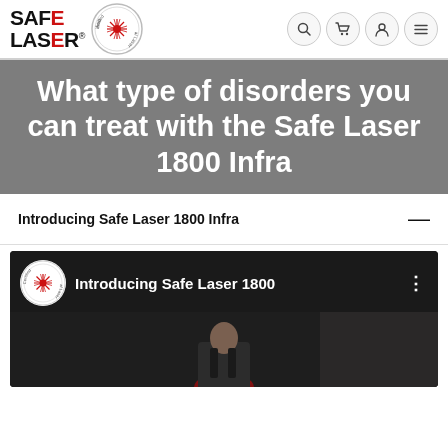[Figure (logo): Safe Laser logo with 'SAFE LASER' text in bold black and red, registered trademark symbol, and Certified Medical Laser circular badge]
[Figure (screenshot): Navigation bar with search, cart, user, and menu icons]
What type of disorders you can treat with the Safe Laser 1800 Infra
Introducing Safe Laser 1800 Infra
[Figure (screenshot): YouTube video thumbnail showing 'Introducing Safe Laser 1800' with Certified Medical Laser badge and a person in a dark suit, with a three-dot menu icon]